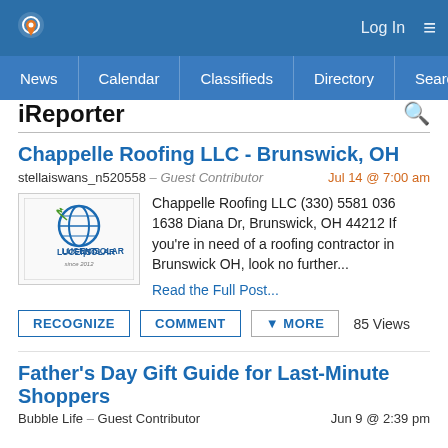iReporter — Log In navigation: News, Calendar, Classifieds, Directory, Search
iReporter
Chappelle Roofing LLC - Brunswick, OH
stellaiswans_n520558 – Guest Contributor       Jul 14 @ 7:00 am
Chappelle Roofing LLC (330) 5581 036 1638 Diana Dr, Brunswick, OH 44212 If you're in need of a roofing contractor in Brunswick OH, look no further...
Read the Full Post...
RECOGNIZE   COMMENT   MORE   85 Views
Father's Day Gift Guide for Last-Minute Shoppers
Bubble Life – Guest Contributor       Jun 9 @ 2:39 pm